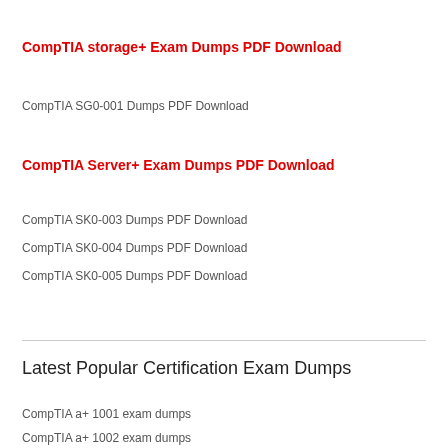CompTIA storage+ Exam Dumps PDF Download
CompTIA SG0-001 Dumps PDF Download
CompTIA Server+ Exam Dumps PDF Download
CompTIA SK0-003 Dumps PDF Download
CompTIA SK0-004 Dumps PDF Download
CompTIA SK0-005 Dumps PDF Download
Latest Popular Certification Exam Dumps
CompTIA a+ 1001 exam dumps
CompTIA a+ 1002 exam dumps